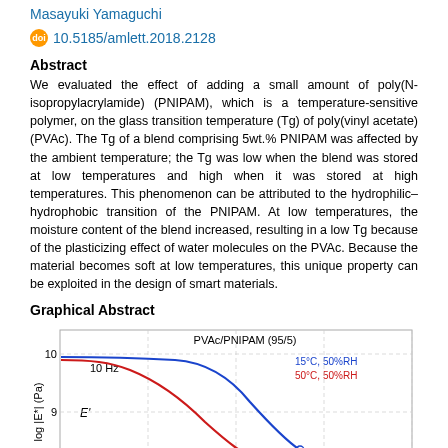Masayuki Yamaguchi
doi 10.5185/amlett.2018.2128
Abstract
We evaluated the effect of adding a small amount of poly(N-isopropylacrylamide) (PNIPAM), which is a temperature-sensitive polymer, on the glass transition temperature (Tg) of poly(vinyl acetate) (PVAc). The Tg of a blend comprising 5wt.% PNIPAM was affected by the ambient temperature; the Tg was low when the blend was stored at low temperatures and high when it was stored at high temperatures. This phenomenon can be attributed to the hydrophilic–hydrophobic transition of the PNIPAM. At low temperatures, the moisture content of the blend increased, resulting in a low Tg because of the plasticizing effect of water molecules on the PVAc. Because the material becomes soft at low temperatures, this unique property can be exploited in the design of smart materials.
Graphical Abstract
[Figure (continuous-plot): Line chart showing log |E*| (Pa) vs temperature for PVAc/PNIPAM (95/5) blend at 10 Hz. Two curves: blue (15°C, 50%RH) and red (50°C, 50%RH). Y-axis ranges from 9 to 10 log Pa. E' label shown. Blue curve drops later than red curve indicating higher Tg when stored at 15°C.]